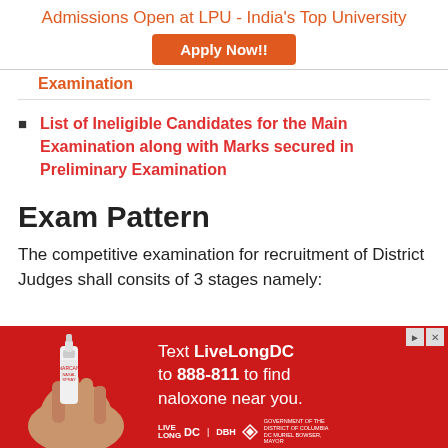Admissions Open at LPU - India's Top University
Apply Now!!
Examination
List of Ineligible Candidates for the Main Examination along with Marks secured in Preliminary Examination
Exam Pattern
The competitive examination for recruitment of District Judges shall consits of 3 stages namely:
[Figure (infographic): Red advertisement banner for LiveLongDC with text: Text LiveLongDC to 888-811 to find naloxone near you. Contains LIVE LONG DC, DBH logos and DC Government branding. Shows hand holding a nasal spray.]